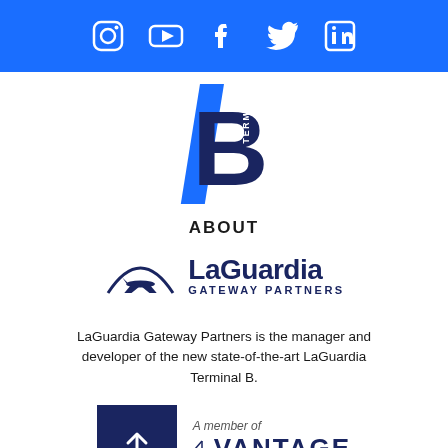[Figure (illustration): Blue banner with social media icons: Instagram, YouTube, Facebook, Twitter, LinkedIn]
[Figure (logo): Terminal B logo: large bold dark navy letter B with a blue diagonal stripe and 'TERMINAL' text written vertically on the stripe]
ABOUT
[Figure (logo): LaGuardia Gateway Partners logo with airplane/arch graphic and navy text]
LaGuardia Gateway Partners is the manager and developer of the new state-of-the-art LaGuardia Terminal B.
[Figure (logo): Arrow up button (navy square with white arrow) alongside Vantage Airport Group logo with 'A member of' label in italic]